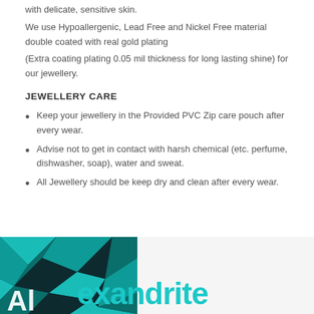with delicate, sensitive skin.
We use Hypoallergenic, Lead Free and Nickel Free material double coated with real gold plating
(Extra coating plating 0.05 mil thickness for long lasting shine) for our jewellery.
JEWELLERY CARE
Keep your jewellery in the Provided PVC Zip care pouch after every wear.
Advise not to get in contact with harsh chemical (etc. perfume, dishwasher, soap), water and sweat.
All Jewellery should be keep dry and clean after every wear.
[Figure (illustration): Bottom portion showing a geometric teal/dark background image on the left and the word 'Alexandrite' in teal text on the right against a light background.]